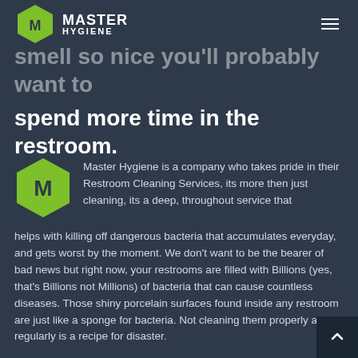Master Hygiene
smell so nice you'll probably want to spend more time in the restroom.
Master Hygiene is a company who takes pride in their Restroom Cleaning Services, its more then just cleaning, its a deep, throughout service that helps with killing off dangerous bacteria that accumulates everyday, and gets worst by the moment. We don't want to be the bearer of bad news but right now, your restrooms are filled with Billions (yes, that's Billions not Millions) of bacteria that can cause countless diseases. Those shiny porcelain surfaces found inside any restroom are just like a sponge for bacteria. Not cleaning them properly and regularly is a recipe for disaster.